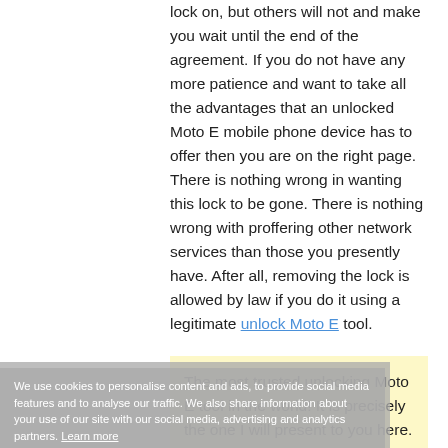lock on, but others will not and make you wait until the end of the agreement. If you do not have any more patience and want to take all the advantages that an unlocked Moto E mobile phone device has to offer then you are on the right page. There is nothing wrong in wanting this lock to be gone. There is nothing wrong with proffering other network services than those you presently have. After all, removing the lock is allowed by law if you do it using a legitimate unlock Moto E tool.
We use cookies to personalise content and ads, to provide social media features and to analyse our traffic. We also share information about your use of our site with our social media, advertising and analytics partners. Learn more
The most trusted unlocking Moto E tool in the world! It is precisely the one I will present to you here. It is a code